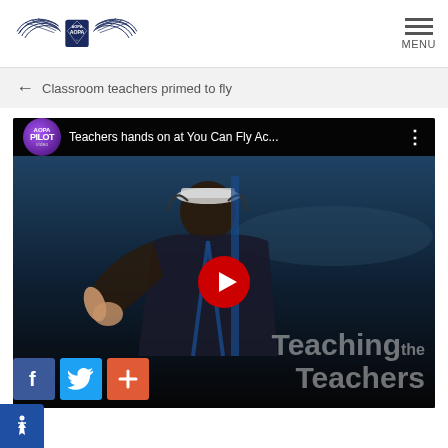AOPA logo and MENU navigation
← Classroom teachers primed to fly
[Figure (screenshot): YouTube-style video thumbnail showing a person in an aircraft giving thumbs up, with title 'Teachers hands on at You Can Fly Ac...' and AOPA Pilot Video badge. Overlay text reads 'Teaching the Teachers'.]
Social sharing buttons: Facebook, Twitter, Plus